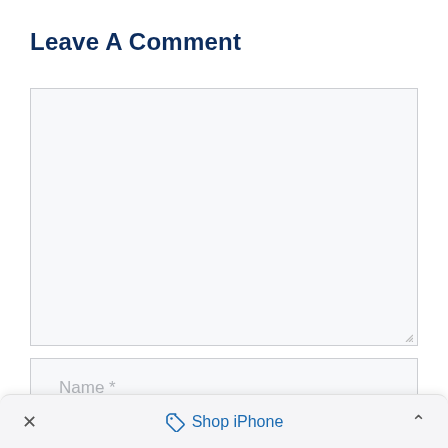Leave A Comment
[Figure (screenshot): A comment form with a large empty textarea, a Name input field with placeholder 'Name *', and a partial third input field visible at the bottom. A browser bottom bar shows an X close button, a 'Shop iPhone' link with a tag icon, and an up chevron.]